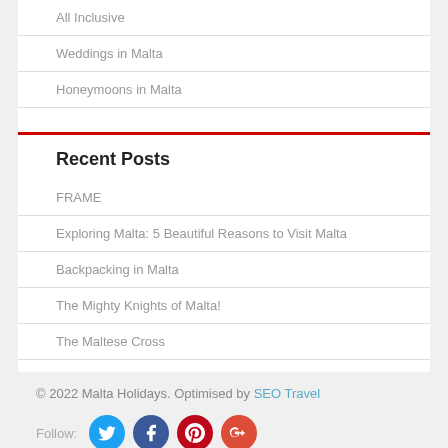All Inclusive
Weddings in Malta
Honeymoons in Malta
Recent Posts
FRAME
Exploring Malta: 5 Beautiful Reasons to Visit Malta
Backpacking in Malta
The Mighty Knights of Malta!
The Maltese Cross
© 2022 Malta Holidays. Optimised by SEO Travel
Follow: